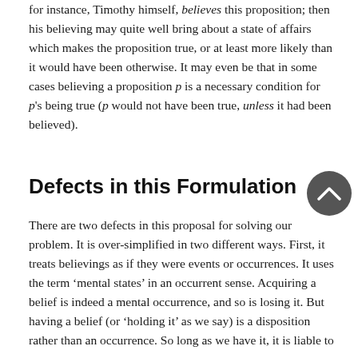for instance, Timothy himself, believes this proposition; then his believing may quite well bring about a state of affairs which makes the proposition true, or at least more likely than it would have been otherwise. It may even be that in some cases believing a proposition p is a necessary condition for p's being true (p would not have been true, unless it had been believed).
Defects in this Formulation
There are two defects in this proposal for solving our problem. It is over-simplified in two different ways. First, it treats believings as if they were events or occurrences. It uses the term 'mental states' in an occurrent sense. Acquiring a belief is indeed a mental occurrence, and so is losing it. But having a belief (or 'holding it' as we say) is a disposition rather than an occurrence. So long as we have it, it is liable to